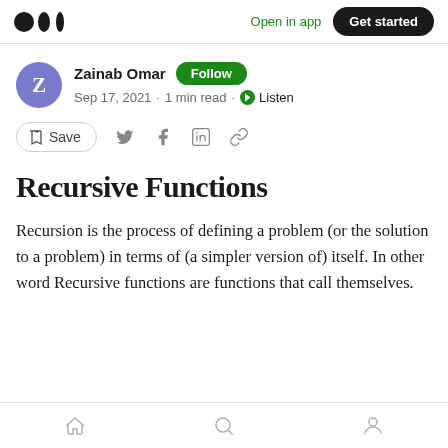Open in app  Get started
Zainab Omar · Follow · Sep 17, 2021 · 1 min read · Listen
Save
Recursive Functions
Recursion is the process of defining a problem (or the solution to a problem) in terms of (a simpler version of) itself. In other word Recursive functions are functions that call themselves.
Home Search Profile